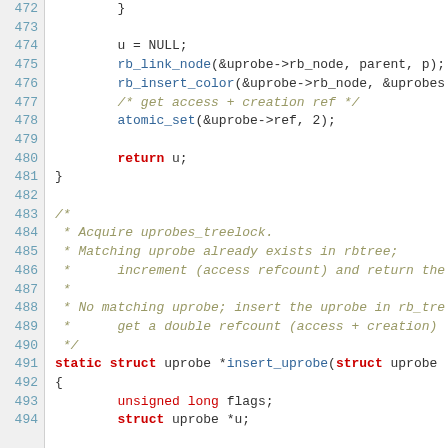Source code listing lines 472-494, showing C kernel code with line numbers. Lines include closing brace, u = NULL, rb_link_node, rb_insert_color, comment about access + creation ref, atomic_set, return u, closing brace, blank lines, comment block about Acquire uprobes_treelock and matching uprobe in rbtree, static struct uprobe *insert_uprobe function definition, opening brace, unsigned long flags, struct uprobe *u declarations.